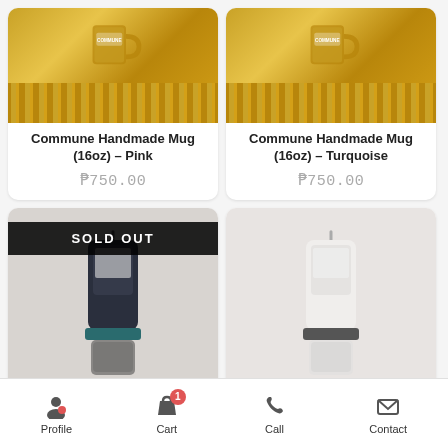[Figure (photo): Commune Handmade Mug (16oz) in gold/glitter finish on wood background - Pink variant]
Commune Handmade Mug (16oz) – Pink
₱750.00
[Figure (photo): Commune Handmade Mug (16oz) in gold/glitter finish on wood background - Turquoise variant]
Commune Handmade Mug (16oz) – Turquoise
₱750.00
[Figure (photo): Dark navy blue coffee grinder on light background, with SOLD OUT banner overlay]
SOLD OUT
[Figure (photo): White coffee grinder on wooden surface against white wall background]
Profile   Cart   Call   Contact